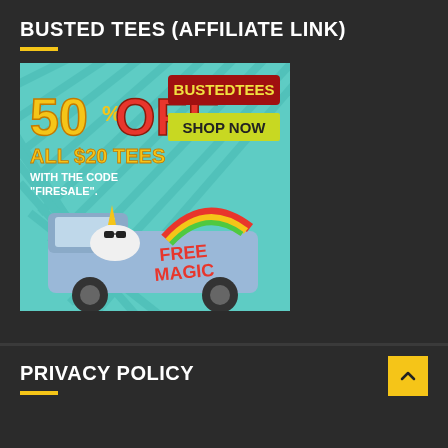BUSTED TEES (AFFILIATE LINK)
[Figure (illustration): BustedTees advertisement showing 50% OFF all $20 tees with code FIRESALE, featuring a unicorn driving a van with FREE MAGIC written on the side and a rainbow in the background. BUSTEDTEES logo and SHOP NOW button visible.]
PRIVACY POLICY